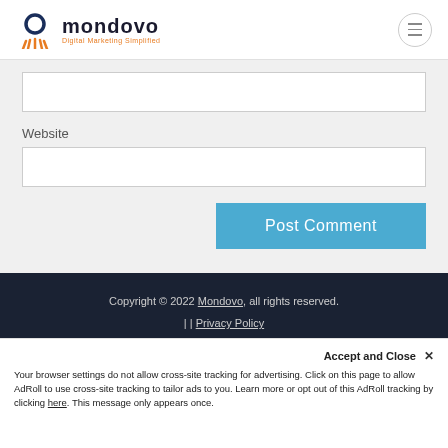mondovo Digital Marketing Simplified
Website
[Figure (screenshot): Empty text input field for website URL]
[Figure (screenshot): Post Comment button in blue]
Copyright © 2022 Mondovo, all rights reserved. | | Privacy Policy
Accept and Close ✕
Your browser settings do not allow cross-site tracking for advertising. Click on this page to allow AdRoll to use cross-site tracking to tailor ads to you. Learn more or opt out of this AdRoll tracking by clicking here. This message only appears once.